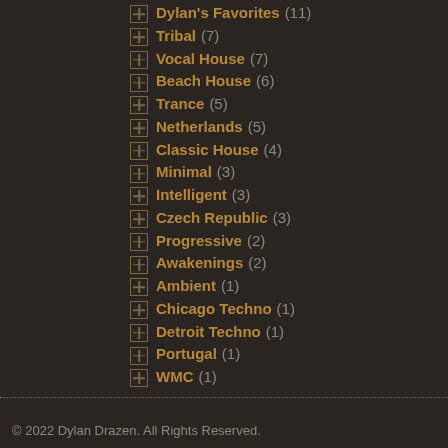Dylan's Favorites (11)
Tribal (7)
Vocal House (7)
Beach House (6)
Trance (5)
Netherlands (5)
Classic House (4)
Minimal (3)
Intelligent (3)
Czech Republic (3)
Progressive (2)
Awakenings (2)
Ambient (1)
Chicago Techno (1)
Detroit Techno (1)
Portugal (1)
WMC (1)
© 2022 Dylan Drazen. All Rights Reserved.